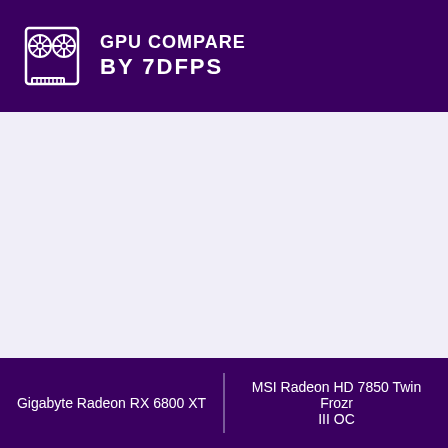GPU COMPARE BY 7DFPS
Gigabyte Radeon RX 6800 XT | MSI Radeon HD 7850 Twin Frozr III OC